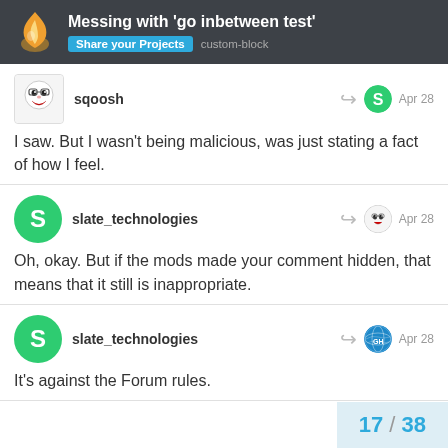Messing with 'go inbetween test' | Share your Projects | custom-block
sqoosh — Apr 28
I saw. But I wasn't being malicious, was just stating a fact of how I feel.
slate_technologies — Apr 28
Oh, okay. But if the mods made your comment hidden, that means that it still is inappropriate.
slate_technologies — Apr 28
It's against the Forum rules.
17 / 38